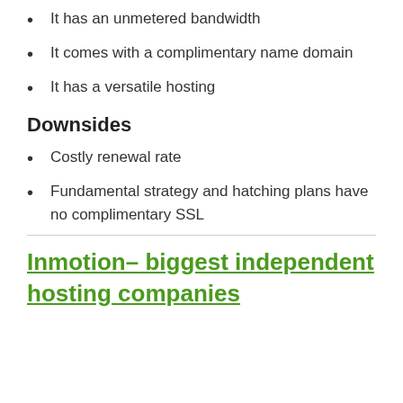It has an unmetered bandwidth
It comes with a complimentary name domain
It has a versatile hosting
Downsides
Costly renewal rate
Fundamental strategy and hatching plans have no complimentary SSL
Inmotion– biggest independent hosting companies